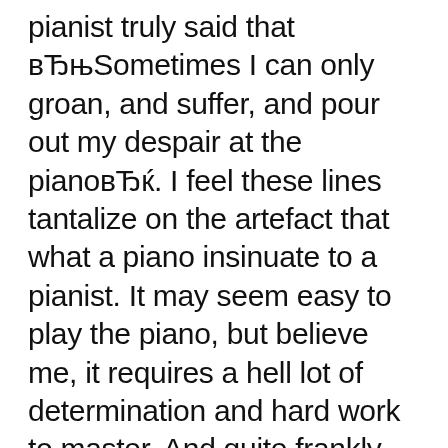pianist truly said that вЂњSometimes I can only groan, and suffer, and pour out my despair at the pianoвЂќ. I feel these lines tantalize on the artefact that what a piano insinuate to a pianist. It may seem easy to play the piano, but believe me, it requires a hell lot of determination and hard work to master, And quite frankly, there is no reason not to buy CasioвЂ™s S1000. Conclusion - Casio Privia PX-S1000 Review. To wrap up the article, IвЂ™d like to sum up the essence of what reviews and specs seem to support - the PX-S1000 (link to it on Amazon here) is the most bang for your buck that youвЂ™re likely to find for the next few years. It is - and.